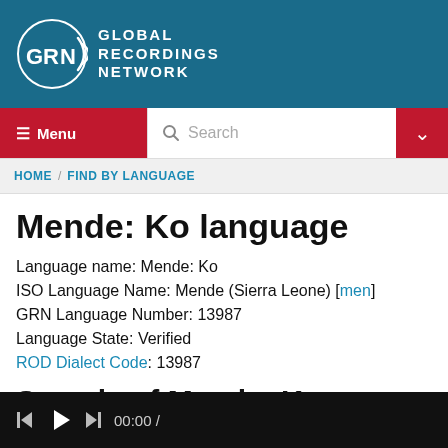[Figure (logo): Global Recordings Network logo with GRN icon and text on teal background]
Menu | Search
HOME / FIND BY LANGUAGE
Mende: Ko language
Language name: Mende: Ko
ISO Language Name: Mende (Sierra Leone) [men]
GRN Language Number: 13987
Language State: Verified
ROD Dialect Code: 13987
Sample of Mende: Ko
[Figure (screenshot): Audio/video player with play button and 00:00 / time display on dark background]